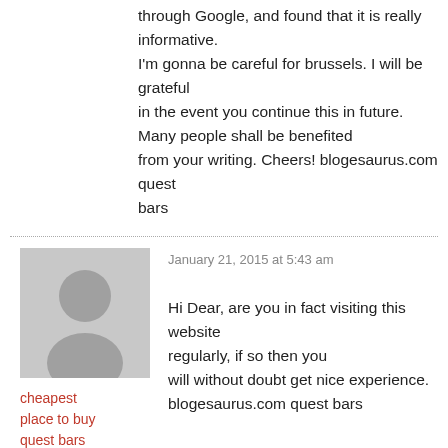through Google, and found that it is really informative. I'm gonna be careful for brussels. I will be grateful in the event you continue this in future. Many people shall be benefited from your writing. Cheers! blogesaurus.com quest bars
January 21, 2015 at 5:43 am
cheapest place to buy quest bars online
Hi Dear, are you in fact visiting this website regularly, if so then you will without doubt get nice experience. blogesaurus.com quest bars